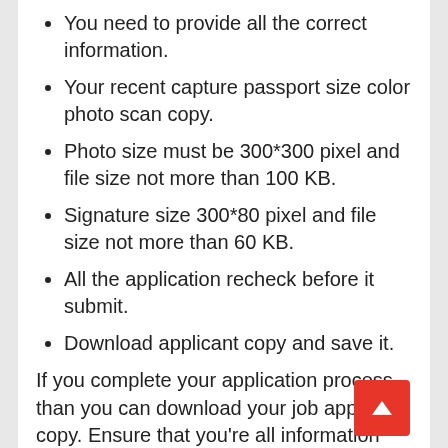You need to provide all the correct information.
Your recent capture passport size color photo scan copy.
Photo size must be 300*300 pixel and file size not more than 100 KB.
Signature size 300*80 pixel and file size not more than 60 KB.
All the application recheck before it submit.
Download applicant copy and save it.
If you complete your application process than you can download your job applicant copy. Ensure that you’re all information are correct and accurate.
Application Fee Payment Method